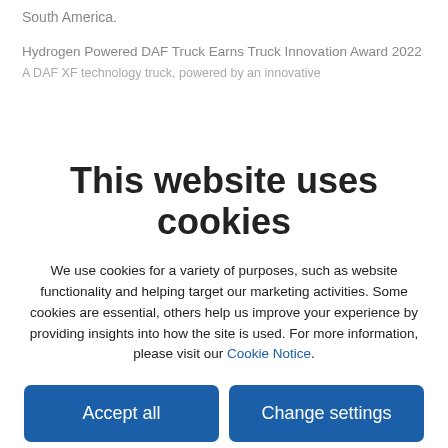South America.
Hydrogen Powered DAF Truck Earns Truck Innovation Award 2022
A DAF XF technology truck, powered by an innovative
This website uses cookies
We use cookies for a variety of purposes, such as website functionality and helping target our marketing activities. Some cookies are essential, others help us improve your experience by providing insights into how the site is used. For more information, please visit our Cookie Notice.
Accept all
Change settings